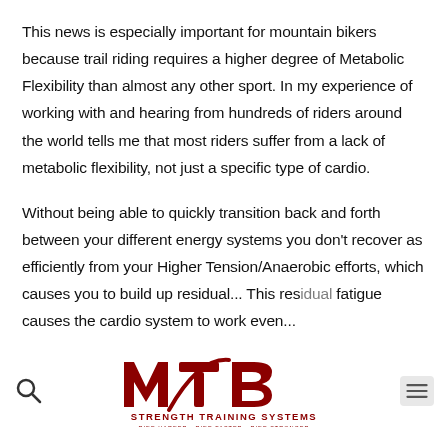This news is especially important for mountain bikers because trail riding requires a higher degree of Metabolic Flexibility than almost any other sport. In my experience of working with and hearing from hundreds of riders around the world tells me that most riders suffer from a lack of metabolic flexibility, not just a specific type of cardio.
Without being able to quickly transition back and forth between your different energy systems you don't recover as efficiently from your Higher Tension/Anaerobic efforts, which causes you to build up residual... This residual fatigue causes the cardio system to work even...
[Figure (logo): MTB Strength Training Systems logo — stylized MTB letters in dark red with 'STRENGTH TRAINING SYSTEMS' text below and tagline 'RIDE HARDER • RIDE FASTER • RIDE STRONGER']